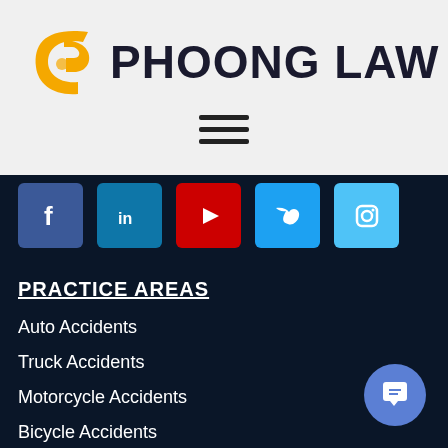[Figure (logo): Phoong Law logo with golden 'P' icon and dark navy text reading PHOONG LAW]
[Figure (other): Hamburger menu icon with three horizontal lines]
[Figure (other): Social media icons row: Facebook (blue), LinkedIn (teal-blue), YouTube (red), Twitter (blue), Instagram (light blue)]
PRACTICE AREAS
Auto Accidents
Truck Accidents
Motorcycle Accidents
Bicycle Accidents
Pedestrian Accidents